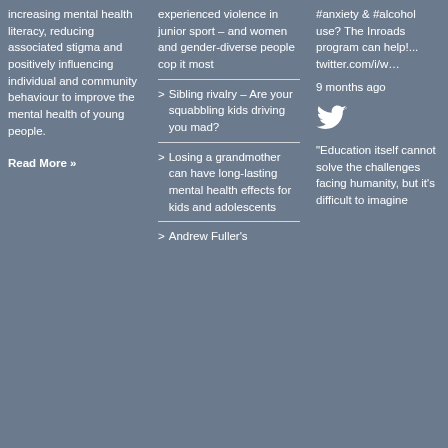increasing mental health literacy, reducing associated stigma and positively influencing individual and community behaviour to improve the mental health of young people.
Read More »
experienced violence in junior sport – and women and gender-diverse people cop it most
Sibling rivalry – Are your squabbling kids driving you mad?
Losing a grandmother can have long-lasting mental health effects for kids and adolescents
Andrew Fuller's
#anxiety & #alcohol use? The Inroads program can help!... twitter.com/i/w… 9 months ago
"Education itself cannot solve the challenges facing humanity, but it's difficult to imagine